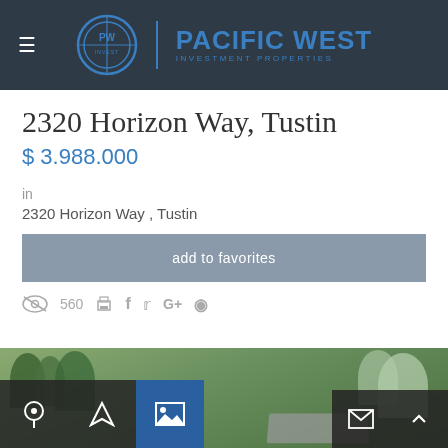Pacific West Investment Properties
2320 Horizon Way, Tustin
$ 3.988.000
in
2320 Horizon Way , Tustin
add to favorites
560
[Figure (photo): Aerial/street view of property at 2320 Horizon Way Tustin showing trees and a road, with map, navigation, and gallery icon buttons overlaid at the bottom]